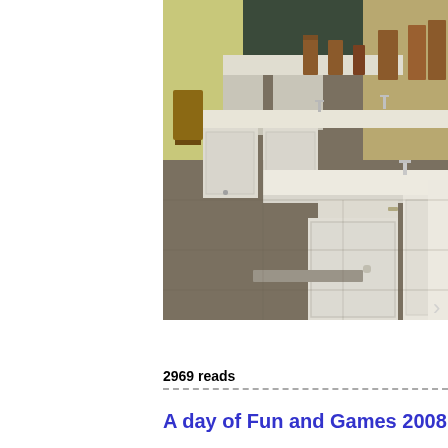[Figure (photo): Interior photo of a school science laboratory with rows of white lab benches/cabinets with sinks, faucets, and storage cupboards on a concrete floor. Chairs and a chalkboard visible in the background.]
2969 reads
A day of Fun and Games 2008